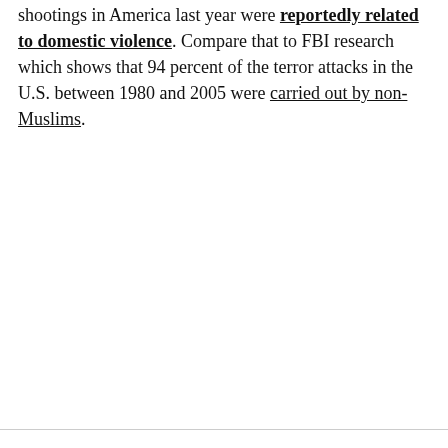shootings in America last year were reportedly related to domestic violence. Compare that to FBI research which shows that 94 percent of the terror attacks in the U.S. between 1980 and 2005 were carried out by non-Muslims.